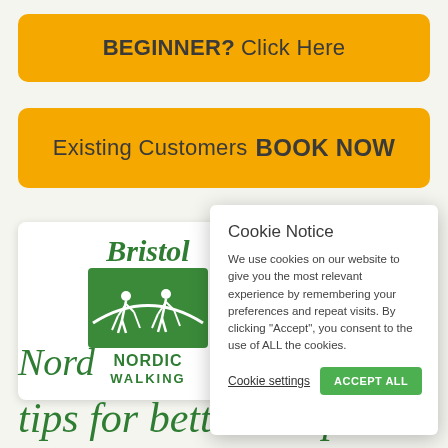BEGINNER? Click Here
Existing Customers BOOK NOW
[Figure (logo): Bristol Nordic Walking logo — green square with two white walker silhouettes using poles, text 'Bristol NORDIC WALKING']
Cookie Notice
We use cookies on our website to give you the most relevant experience by remembering your preferences and repeat visits. By clicking “Accept”, you consent to the use of ALL the cookies.
Cookie settings
ACCEPT ALL
Nord
tips for better sleep